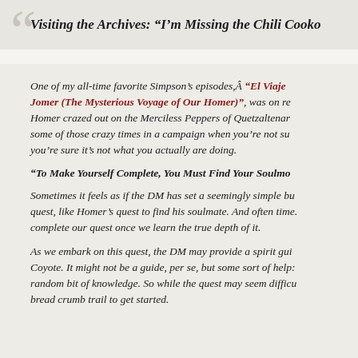Visiting the Archives: “I’m Missing the Chili Cooko
One of my all-time favorite Simpson’s episodes,Â “El Viaje Jomer (The Mysterious Voyage of Our Homer)”, was on re Homer crazed out on the Merciless Peppers of Quetzaltena some of those crazy times in a campaign when you’re not su you’re sure it’s not what you actually are doing.
“To Make Yourself Complete, You Must Find Your Soulma
Sometimes it feels as if the DM has set a seemingly simple bu quest, like Homer’s quest to find his soulmate. And often time. complete our quest once we learn the true depth of it.
As we embark on this quest, the DM may provide a spirit gui Coyote. It might not be a guide, per se, but some sort of help: random bit of knowledge. So while the quest may seem difficu bread crumb trail to get started.